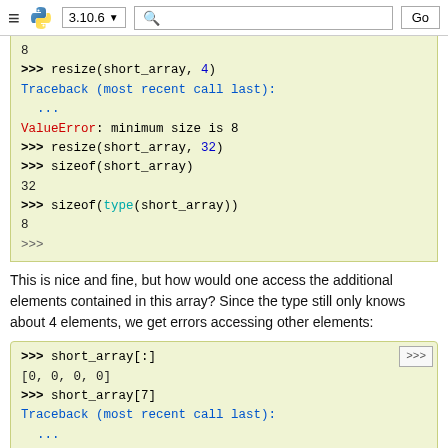≡ 🐍 3.10.6 ▼ [search] Go
[Figure (screenshot): Python interactive console code block showing: 8, >>> resize(short_array, 4), Traceback (most recent call last):, ..., ValueError: minimum size is 8, >>> resize(short_array, 32), >>> sizeof(short_array), 32, >>> sizeof(type(short_array)), 8, >>>]
This is nice and fine, but how would one access the additional elements contained in this array? Since the type still only knows about 4 elements, we get errors accessing other elements:
[Figure (screenshot): Python interactive console code block showing: >>> short_array[:], [0, 0, 0, 0], >>> short_array[7], Traceback (most recent call last):, ..., IndexError: invalid index, >>>]